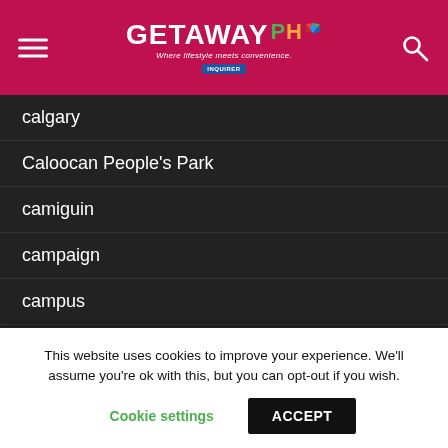GETAWAY PH – Where lifestyle meets convenience. – Inquirer
calgary
Caloocan People's Park
camiguin
campaign
campus
CamSur Watersports Complex
Canary Lounge
cancelled flights during MECQ
candelet
Canton Road
This website uses cookies to improve your experience. We'll assume you're ok with this, but you can opt-out if you wish.
Cookie settings   ACCEPT